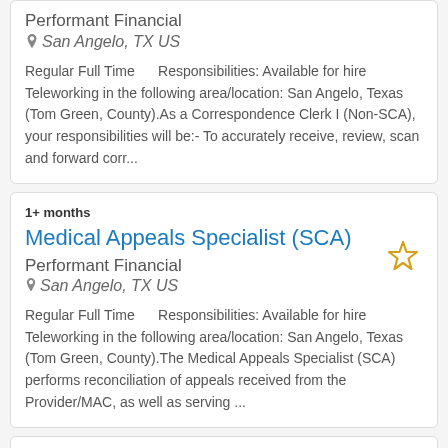Performant Financial
San Angelo, TX US

Regular Full Time    Responsibilities: Available for hire Teleworking in the following area/location: San Angelo, Texas (Tom Green, County).As a Correspondence Clerk I (Non-SCA), your responsibilities will be:- To accurately receive, review, scan and forward corr...
Medical Appeals Specialist (SCA)
Performant Financial
San Angelo, TX US

Regular Full Time    Responsibilities: Available for hire Teleworking in the following area/location: San Angelo, Texas (Tom Green, County).The Medical Appeals Specialist (SCA) performs reconciliation of appeals received from the Provider/MAC, as well as serving ...
1+ months